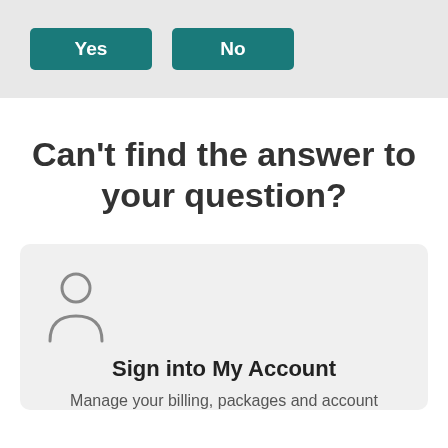[Figure (other): Yes and No buttons as teal rounded rectangles]
Can't find the answer to your question?
[Figure (illustration): Simple outline icon of a person (user/account avatar)]
Sign into My Account
Manage your billing, packages and account